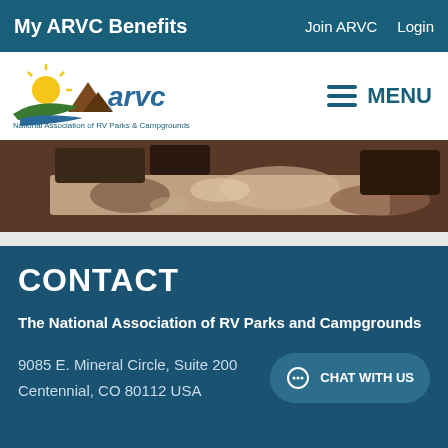My ARVC Benefits    Join ARVC    Login
[Figure (logo): ARVC logo with sun, mountains, and green swoosh. Text: arvc, National Association of RV Parks & Campgrounds]
[Figure (photo): Outdoor campground scene, shaded path/road with vehicles visible, brownish tones]
CONTACT
The National Association of RV Parks and Campgrounds
9085 E. Mineral Circle, Suite 200
Centennial, CO 80112 USA
CHAT WITH US